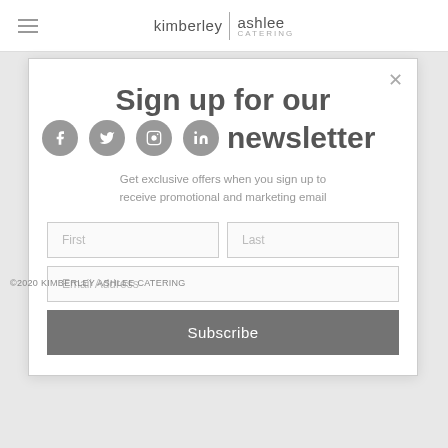kimberley | ashlee CATERING
Sign up for our newsletter
Get exclusive offers when you sign up to receive promotional and marketing email
©2020 KIMBERLEY ASHLEE CATERING
First
Last
Email Address
Subscribe